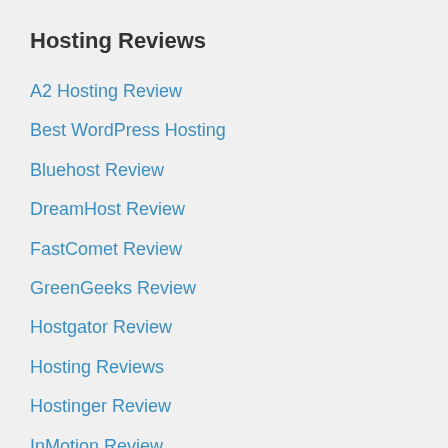Hosting Reviews
A2 Hosting Review
Best WordPress Hosting
Bluehost Review
DreamHost Review
FastComet Review
GreenGeeks Review
Hostgator Review
Hosting Reviews
Hostinger Review
InMotion Review
InterServer Review
JustHost Review